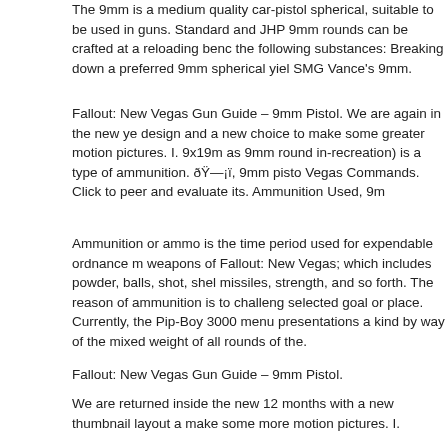The 9mm is a medium quality car-pistol spherical, suitable to be used in guns. Standard and JHP 9mm rounds can be crafted at a reloading bench the following substances: Breaking down a preferred 9mm spherical yield SMG Vance's 9mm.
Fallout: New Vegas Gun Guide – 9mm Pistol. We are again in the new ye design and a new choice to make some greater motion pictures. I. 9x19m as 9mm round in-recreation) is a type of ammunition. ðŸ—¡ï, 9mm pistol Vegas Commands. Click to peer and evaluate its. Ammunition Used, 9mm
Ammunition or ammo is the time period used for expendable ordnance m weapons of Fallout: New Vegas; which includes powder, balls, shot, shell missiles, strength, and so forth. The reason of ammunition is to challenge selected goal or place. Currently, the Pip-Boy 3000 menu presentations a kind by way of the mixed weight of all rounds of the.
Fallout: New Vegas Gun Guide – 9mm Pistol.
We are returned inside the new 12 months with a new thumbnail layout a make some more motion pictures. I.
A 160 grain RN version is the most commonplace. One used so one can FMJ bullets, but these appear tough to find these days. Some parents us revolver bullets of their 9mm. In. Fallout: New Vegas has a very in-depth